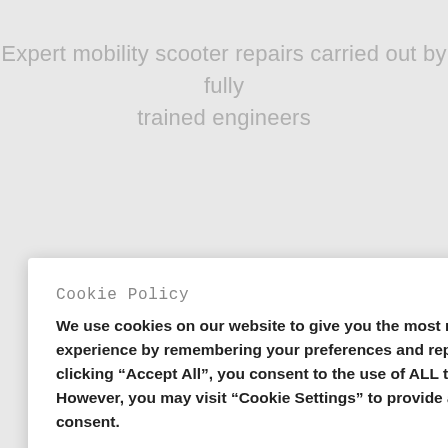Expert mobility scooter repairs carried out by fully trained engineers
[Figure (illustration): Green mobility scooter icon illustration]
Cookie Policy
We use cookies on our website to give you the most relevant experience by remembering your preferences and repeat visits. By clicking “Accept All”, you consent to the use of ALL the cookies. However, you may visit "Cookie Settings" to provide a controlled consent.
Cookie Settings | Accept All
s for both
nd store models